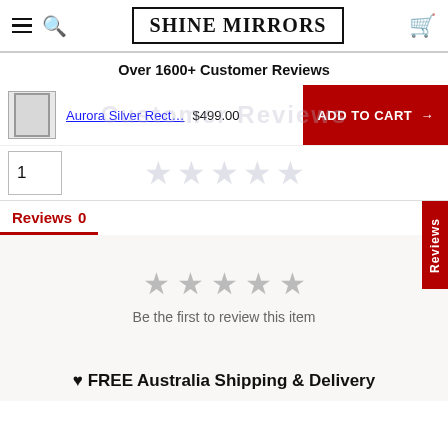SHINE MIRRORS
Over 1600+ Customer Reviews
Aurora Silver Rect… $499.00 ADD TO CART →
1
Customer Reviews
Reviews 0
Be the first to review this item
Reviews
♥ FREE Australia Shipping & Delivery